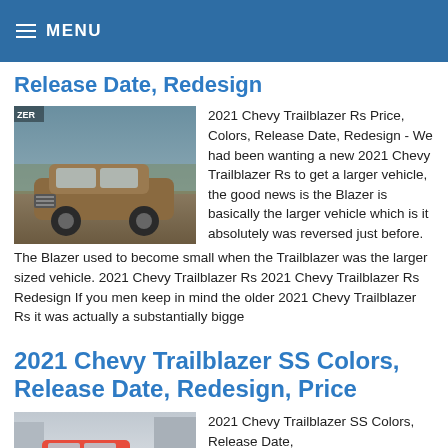MENU
Release Date, Redesign
[Figure (photo): Brown/gold 2021 Chevy Trailblazer RS SUV on a dirt road with trees in background]
2021 Chevy Trailblazer Rs Price, Colors, Release Date, Redesign - We had been wanting a new 2021 Chevy Trailblazer Rs to get a larger vehicle, the good news is the Blazer is basically the larger vehicle which is it absolutely was reversed just before. The Blazer used to become small when the Trailblazer was the larger sized vehicle. 2021 Chevy Trailblazer Rs 2021 Chevy Trailblazer Rs Redesign If you men keep in mind the older 2021 Chevy Trailblazer Rs it was actually a substantially bigge
2021 Chevy Trailblazer SS Colors, Release Date, Redesign, Price
[Figure (photo): Red 2021 Chevy Trailblazer SS in an urban setting]
2021 Chevy Trailblazer SS Colors, Release Date,